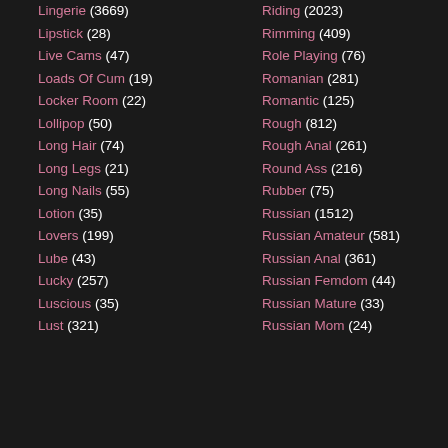Lingerie (3669)
Lipstick (28)
Live Cams (47)
Loads Of Cum (19)
Locker Room (22)
Lollipop (50)
Long Hair (74)
Long Legs (21)
Long Nails (55)
Lotion (35)
Lovers (199)
Lube (43)
Lucky (257)
Luscious (35)
Lust (321)
Riding (2023)
Rimming (409)
Role Playing (76)
Romanian (281)
Romantic (125)
Rough (812)
Rough Anal (261)
Round Ass (216)
Rubber (75)
Russian (1512)
Russian Amateur (581)
Russian Anal (361)
Russian Femdom (44)
Russian Mature (33)
Russian Mom (24)